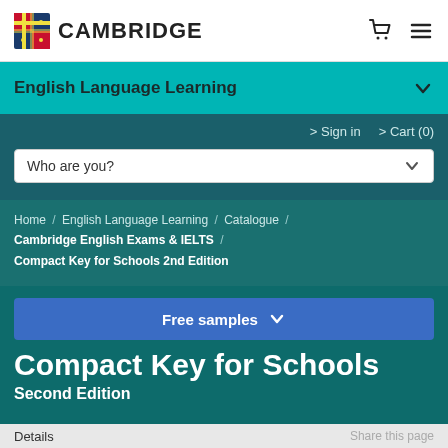[Figure (logo): Cambridge University Press logo with shield and CAMBRIDGE text]
English Language Learning
> Sign in  > Cart (0)
Who are you?
Home / English Language Learning / Catalogue / Cambridge English Exams & IELTS / Compact Key for Schools 2nd Edition
Free samples
Compact Key for Schools
Second Edition
Details
Share this page